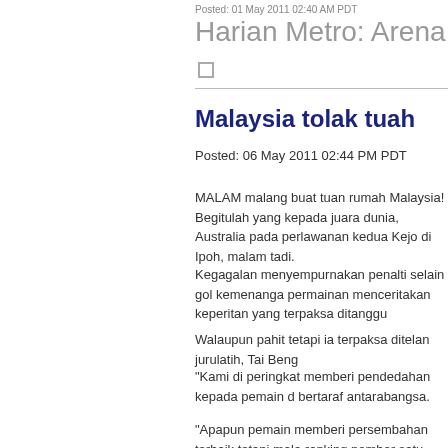Posted: 01 May 2011 02:40 PM PDT
Harian Metro: Arena
Malaysia tolak tuah
Posted: 06 May 2011 02:44 PM PDT
MALAM malang buat tuan rumah Malaysia! Begitulah yang kepada juara dunia, Australia pada perlawanan kedua Kejo di Ipoh, malam tadi.
Kegagalan menyempurnakan penalti selain gol kemenanga permainan menceritakan keperitan yang terpaksa ditanggu
Walaupun pahit tetapi ia terpaksa ditelan jurulatih, Tai Beng
"Kami di peringkat memberi pendedahan kepada pemain d bertaraf antarabangsa.
"Apapun pemain memberi persembahan terbaik tetapi mala ranking nombor satu dunia.
Pada perlawanan semalam jaringan 35 saat sebelum siron